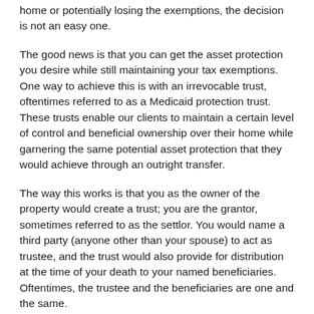home or potentially losing the exemptions, the decision is not an easy one.
The good news is that you can get the asset protection you desire while still maintaining your tax exemptions. One way to achieve this is with an irrevocable trust, oftentimes referred to as a Medicaid protection trust. These trusts enable our clients to maintain a certain level of control and beneficial ownership over their home while garnering the same potential asset protection that they would achieve through an outright transfer.
The way this works is that you as the owner of the property would create a trust; you are the grantor, sometimes referred to as the settlor. You would name a third party (anyone other than your spouse) to act as trustee, and the trust would also provide for distribution at the time of your death to your named beneficiaries. Oftentimes, the trustee and the beneficiaries are one and the same.
Once you transfer the home (or any other nonretirement assets) into the trust, the "clock" begins to run for the purpose of asset